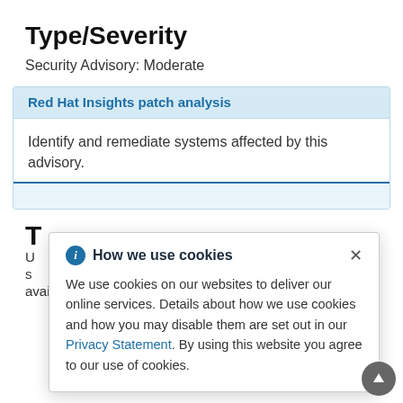Type/Severity
Security Advisory: Moderate
Red Hat Insights patch analysis
Identify and remediate systems affected by this advisory.
How we use cookies
We use cookies on our websites to deliver our online services. Details about how we use cookies and how you may disable them are set out in our Privacy Statement. By using this website you agree to our use of cookies.
available for Red Hat Software Collections 1.